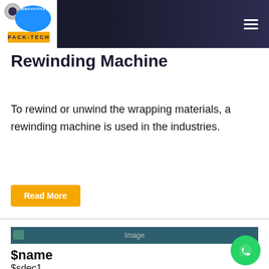Innovative Pack-Tech (logo and navigation header)
Rewinding Machine
To rewind or unwind the wrapping materials, a rewinding machine is used in the industries.
Read More
[Figure (photo): Image placeholder with teal background labeled 'Image']
$name
$sdec1